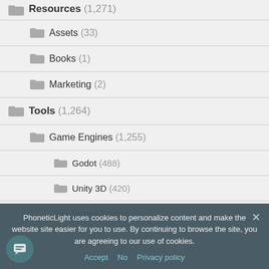Resources (1,271)
Assets (33)
Books (1)
Marketing (2)
Tools (1,264)
Game Engines (1,255)
Godot (488)
Unity 3D (420)
Unreal Engine (340)
PhoneticLight uses cookies to personalize content and make the website site easier for you to use. By continuing to browse the site, you are agreeing to our use of cookies.
Accept  No  Privacy policy